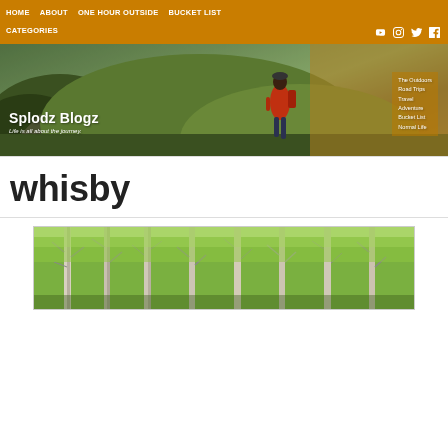HOME  ABOUT  ONE HOUR OUTSIDE  BUCKET LIST  CATEGORIES
[Figure (screenshot): Splodz Blogz website header banner showing a person in a red jacket walking on a hillside with scenic landscape. Text overlay: 'Splodz Blogz - Life is all about the journey.' with categories: The Outdoors, Road Trips, Travel, Adventure, Bucket List, Normal Life]
whisby
[Figure (photo): Forest scene with tall birch trees and green foliage]